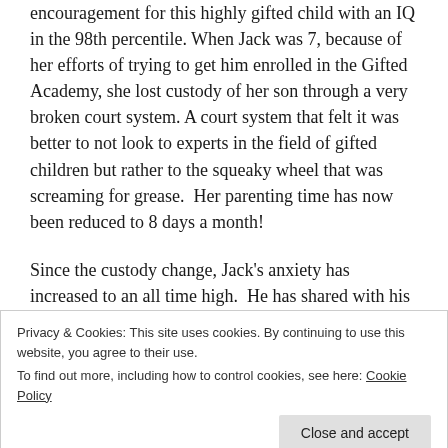encouragement for this highly gifted child with an IQ in the 98th percentile. When Jack was 7, because of her efforts of trying to get him enrolled in the Gifted Academy, she lost custody of her son through a very broken court system. A court system that felt it was better to not look to experts in the field of gifted children but rather to the squeaky wheel that was screaming for grease.  Her parenting time has now been reduced to 8 days a month!
Since the custody change, Jack's anxiety has increased to an all time high.  He has shared with his mom after crying uncontrollably for the first hour of most visits with her that his father is abusing him mentally,
father held him by his leg and suspended him over the